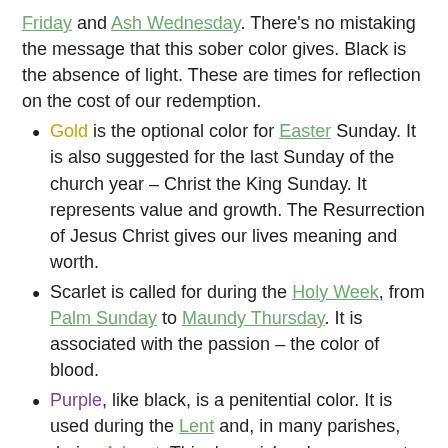Friday and Ash Wednesday. There's no mistaking the message that this sober color gives. Black is the absence of light. These are times for reflection on the cost of our redemption.
Gold is the optional color for Easter Sunday. It is also suggested for the last Sunday of the church year – Christ the King Sunday. It represents value and growth. The Resurrection of Jesus Christ gives our lives meaning and worth.
Scarlet is called for during the Holy Week, from Palm Sunday to Maundy Thursday. It is associated with the passion – the color of blood.
Purple, like black, is a penitential color. It is used during the Lent and, in many parishes, during Advent. This deep rich color represents somberness, penitence and prayer.